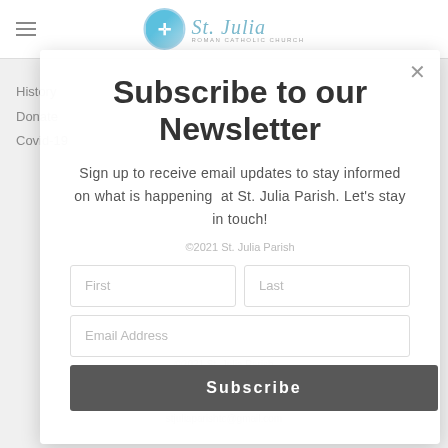St. Julia Roman Catholic Church
History
Donate
Covid-19
Subscribe to our Newsletter
Sign up to receive email updates to stay informed on what is happening at St. Julia Parish. Let's stay in touch!
First
Last
Email Address
Subscribe
©2021 St. Julia Parish
Tel: (905) 684-5603
Fax: (905) 684-9479
stjuliaparishtc@gmail.com